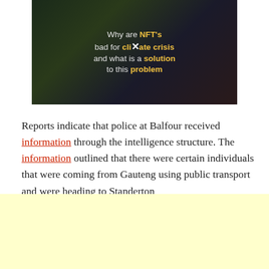[Figure (screenshot): Video thumbnail with dark background showing text: 'Why are NFT's bad for climate crisis and what is a solution to this problem' with yellow bold highlights and an X mark overlay]
Reports indicate that police at Balfour received information through the intelligence structure. The information outlined that there were certain individuals that were coming from Gauteng using public transport and were heading to Standerton